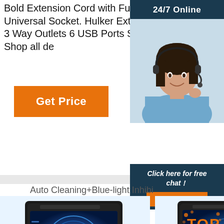Bold Extension Cord with Fuse and Shutter Power Strips Universal Socket. Hulker Extension Lead with USB Ports 3 Way Outlets 6 USB Ports Surge Protection Power.... Shop all de
[Figure (other): 24/7 Online customer support panel with female agent wearing headset, dark blue header, and orange QUOTATION button with 'Click here for free chat!' text]
Get Price
Auto Cleaning+Blue-light Inhibi
[Figure (photo): Ice maker product showing '360° Sterilizing' blue UV light display with circular design graphic]
[Figure (photo): Ice maker product with blue light display and TOP badge overlay in orange]